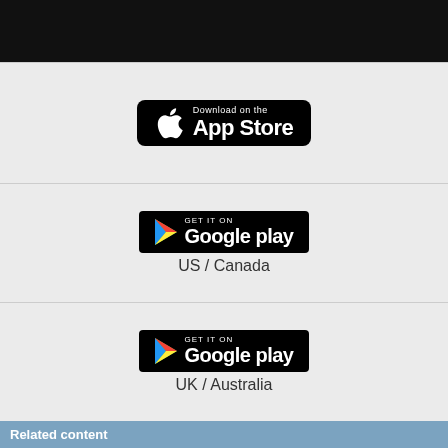[Figure (screenshot): Top black banner with partial white text (website header)]
[Figure (screenshot): Download on the App Store badge (black rounded rectangle with Apple logo)]
[Figure (screenshot): GET IT ON Google play badge for US / Canada]
US / Canada
[Figure (screenshot): GET IT ON Google play badge for UK / Australia]
UK / Australia
Related content
Web Tricks
Busy web developers are always looking for an edge. This month we explore some tricks for faster and more effective websites.
more »
Web Design with GIMP